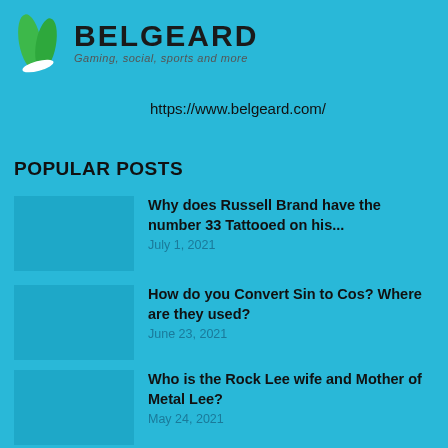[Figure (logo): Belgeard logo with green leaf shapes on left and bold BELGEARD text with tagline 'Gaming, social, sports and more']
https://www.belgeard.com/
POPULAR POSTS
Why does Russell Brand have the number 33 Tattooed on his...
July 1, 2021
How do you Convert Sin to Cos? Where are they used?
June 23, 2021
Who is the Rock Lee wife and Mother of Metal Lee?
May 24, 2021